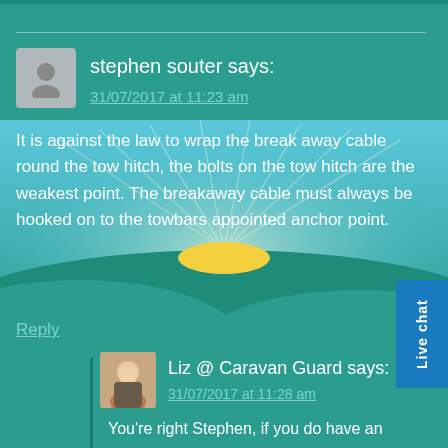stephen souter says:
31/07/2017 at 11:23 am
It is against the law to wrap the break away cable round the tow hitch, the bolts on the tow hitch are the weakest point. The breakaway cable must always be hooked on to the towbars appointed anchor point.
Reply
Liz @ Caravan Guard says:
31/07/2017 at 11:28 am
You're right Stephen, if you do have an designated attachment point then the breakaway cable must be attached to this. However, some towbars do not have these, so in these circumstances it's acceptable to loop the